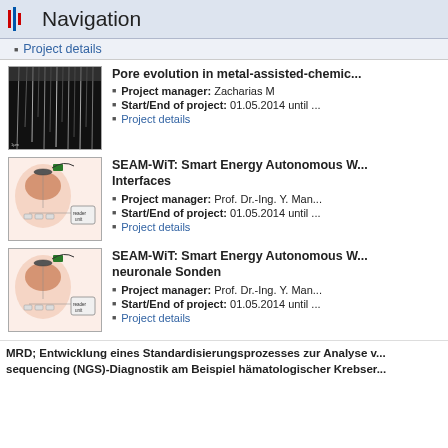Navigation
Project details
[Figure (photo): Electron microscopy image showing vertical pores/channels in silicon, black and white]
Pore evolution in metal-assisted-chemic... Project manager: Zacharias M. Start/End of project: 01.05.2014 until ... Project details
[Figure (illustration): Diagram of a brain with wireless implant and reader unit circuit]
SEAM-WiT: Smart Energy Autonomous W... Interfaces Project manager: Prof. Dr.-Ing. Y. Man... Start/End of project: 01.05.2014 until ... Project details
[Figure (illustration): Diagram of a brain with wireless implant and reader unit circuit (second instance)]
SEAM-WiT: Smart Energy Autonomous W... neuronale Sonden Project manager: Prof. Dr.-Ing. Y. Man... Start/End of project: 01.05.2014 until ... Project details
MRD; Entwicklung eines Standardisierungsprozesses zur Analyse v... sequencing (NGS)-Diagnostik am Beispiel hämatologischer Krebser...